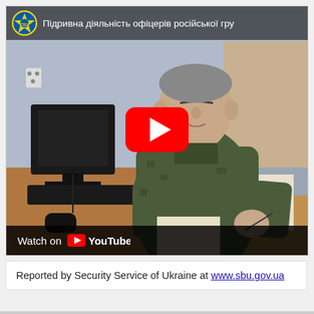[Figure (screenshot): YouTube video thumbnail showing a man in military camouflage uniform sitting at a desk with a computer monitor and keyboard. The video title bar reads 'Підривна діяльність офіцерів російської гру...' with the SBU (Security Service of Ukraine) logo. A red YouTube play button is centered on the image. The bottom bar shows 'Watch on YouTube' with the YouTube logo.]
Reported by Security Service of Ukraine at www.sbu.gov.ua